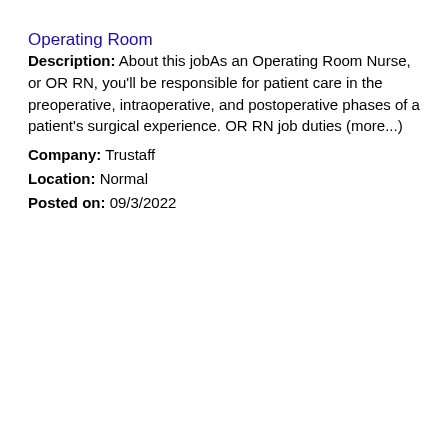Operating Room
Description: About this jobAs an Operating Room Nurse, or OR RN, you'll be responsible for patient care in the preoperative, intraoperative, and postoperative phases of a patient's surgical experience. OR RN job duties (more...)
Company: Trustaff
Location: Normal
Posted on: 09/3/2022